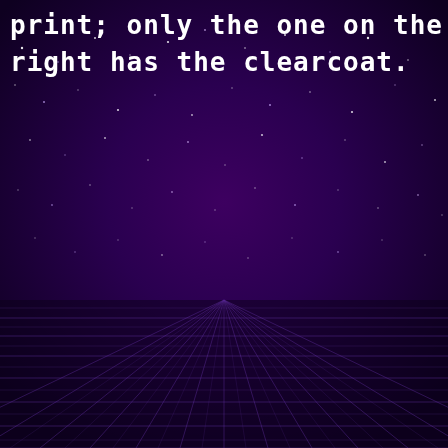[Figure (illustration): Retro synthwave-style scene with deep purple/violet background. Upper half features a dark purple starfield with scattered white and light purple dots/stars. Lower half shows a perspective grid floor rendered in thin purple/violet lines converging toward a horizon point in the center, giving a classic 1980s retrowave aesthetic. The background has a subtle radial gradient from dark purple in corners to slightly lighter purple in the center.]
print; only the one on the right has the clearcoat.